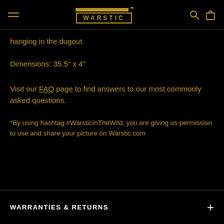WARSTIC navigation header
hanging in the dugout.
Dimensions: 35.5" x 4"
Visit our FAQ page to find answers to our most commonly asked questions.
*By using hashtag #WarsticInTheWild, you are giving us permission to use and share your picture on Warstic.com
WARRANTIES & RETURNS